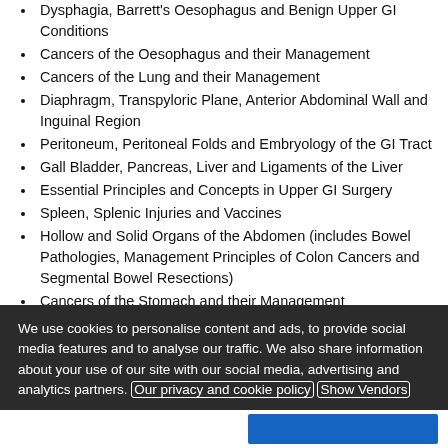Dysphagia, Barrett's Oesophagus and Benign Upper GI Conditions
Cancers of the Oesophagus and their Management
Cancers of the Lung and their Management
Diaphragm, Transpyloric Plane, Anterior Abdominal Wall and Inguinal Region
Peritoneum, Peritoneal Folds and Embryology of the GI Tract
Gall Bladder, Pancreas, Liver and Ligaments of the Liver
Essential Principles and Concepts in Upper GI Surgery
Spleen, Splenic Injuries and Vaccines
Hollow and Solid Organs of the Abdomen (includes Bowel Pathologies, Management Principles of Colon Cancers and Segmental Bowel Resections)
Cancers of the Stomach and their Management
Pelvis and Perineum
We use cookies to personalise content and ads, to provide social media features and to analyse our traffic. We also share information about your use of our site with our social media, advertising and analytics partners. Our privacy and cookie policy Show Vendors